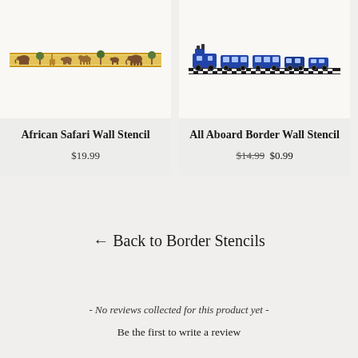[Figure (illustration): African Safari Wall Stencil product card with a cream-colored background showing a horizontal decorative border strip with gold frame and brown safari animals (elephants, trees, camels) along the top portion]
African Safari Wall Stencil
$19.99
[Figure (illustration): All Aboard Border Wall Stencil product card with cream-colored background showing a blue train with locomotive and passenger cars on a checkered track border]
All Aboard Border Wall Stencil
$14.99 $0.99
← Back to Border Stencils
- No reviews collected for this product yet -
Be the first to write a review